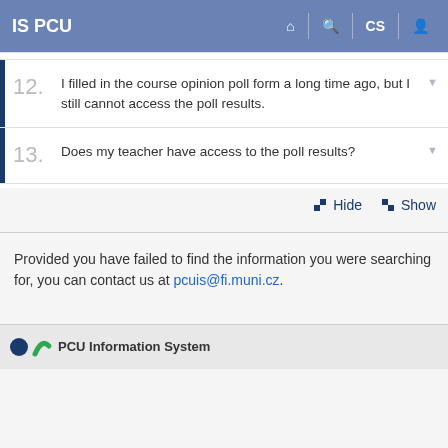IS PCU
12. I filled in the course opinion poll form a long time ago, but I still cannot access the poll results.
13. Does my teacher have access to the poll results?
Hide  Show
Provided you have failed to find the information you were searching for, you can contact us at pcuis@fi.muni.cz.
PCU Information System